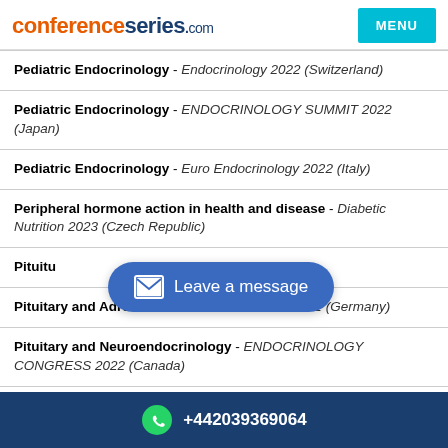conferenceseries.com
Pediatric Endocrinology - Endocrinology 2022 (Switzerland)
Pediatric Endocrinology - ENDOCRINOLOGY SUMMIT 2022 (Japan)
Pediatric Endocrinology - Euro Endocrinology 2022 (Italy)
Peripheral hormone action in health and disease - Diabetic Nutrition 2023 (Czech Republic)
Pituitary disorders - ENDOCRINOLOGY SUMMIT 2022 (Japan)
Pituitary and Adrenal disorders - Endocrine-2022 (Germany)
Pituitary and Neuroendocrinology - ENDOCRINOLOGY CONGRESS 2022 (Canada)
+442039369064